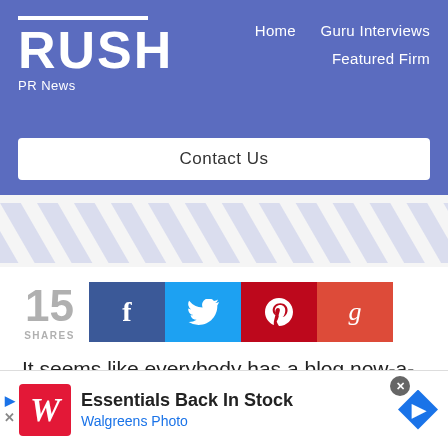[Figure (logo): Rush PR News logo with white bar above RUSH text and 'PR News' subtitle on blue background, with navigation links: Home, Guru Interviews, Featured Firm]
[Figure (infographic): Diagonal stripe pattern in light blue/grey on white background]
[Figure (infographic): Social share count: 15 SHARES, with Facebook, Twitter, Pinterest, Google+ share buttons]
It seems like everybody has a blog now-a-days. From PR professionals
[Figure (infographic): Walgreens ad banner: Essentials Back In Stock, Walgreens Photo]